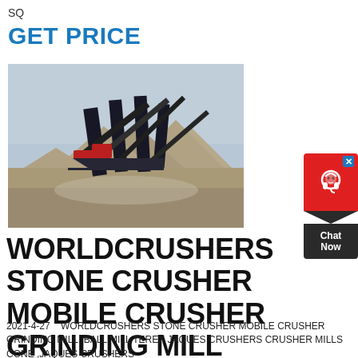SQ
GET PRICE
[Figure (photo): Industrial stone crusher / mobile crushing plant at a quarry site with multiple conveyor belts and large piles of crushed aggregate material.]
[Figure (other): Chat Now widget — red circle with headset icon, dark chevron, and 'Chat Now' label]
WORLDCRUSHERS STONE CRUSHER MOBILE CRUSHER GRINDING MILL
2021-4-27   WORLDCRUSHERS STONE CRUSHER MOBILE CRUSHER GRINDING MILL. BALL MILL TEREX JAQUES CRUSHERS CRUSHER MILLS CONE ,JAQUES CRUSHERS